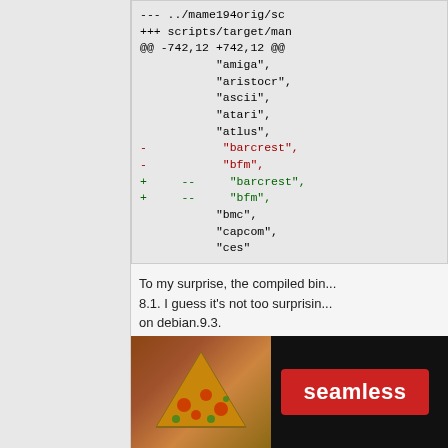[Figure (screenshot): Diff/patch code block showing file changes: --- ../mame194orig/sc, +++ scripts/target/man, @@ -742,12 +742,12 @@, with lines for amiga, aristocr, ascii, atari, atlus, with removed lines barcrest and bfm (red), and added lines -- barcrest, -- bfm (green), followed by bmc, capcom, ces]
To my surprise, the compiled bin... 8.1. I guess it's not too surprisin... on debian.9.3.
Code:
[Figure (screenshot): Code block showing: lsb_release -a, No LSB modules are ava..., Distributor ID: Deb..., Description: Debia...]
[Figure (screenshot): Seamless food delivery advertisement banner with pizza image, seamless logo button in red, and ORDER NOW button]